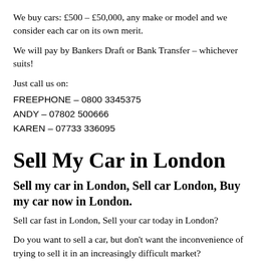We buy cars: £500 – £50,000, any make or model and we consider each car on its own merit.
We will pay by Bankers Draft or Bank Transfer – whichever suits!
Just call us on:
FREEPHONE – 0800 3345375
ANDY – 07802 500666
KAREN – 07733 336095
Sell My Car in London
Sell my car in London, Sell car London, Buy my car now in London.
Sell car fast in London, Sell your car today in London?
Do you want to sell a car, but don't want the inconvenience of trying to sell it in an increasingly difficult market?